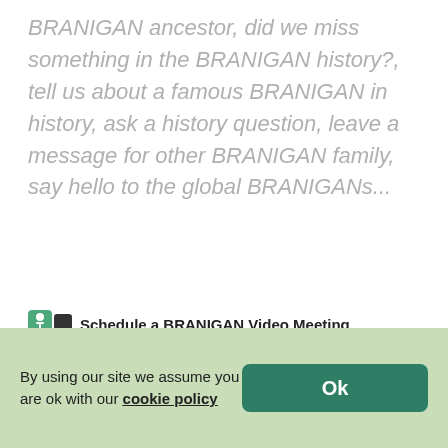BRANIGAN ancestor, did we miss something in the BRANIGAN history?, tell us about a famous BRANIGAN in history, ask a history question, leave a message for other BRANIGAN family, say hello to the global BRANIGANs...
Schedule a BRANIGAN Video Meeting
Add to Your Post
Enter Your Name
Enter Your Email
By using our site we assume you are ok with our cookie policy